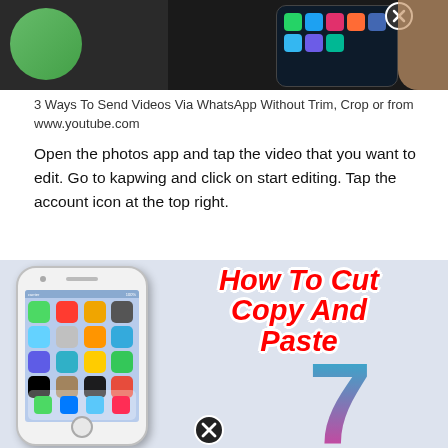[Figure (screenshot): Top portion of a webpage showing a WhatsApp video sharing tutorial. Green circle on left, hand holding a phone with dark background on right, with an X/close badge overlay.]
3 Ways To Send Videos Via WhatsApp Without Trim, Crop or from www.youtube.com
Open the photos app and tap the video that you want to edit. Go to kapwing and click on start editing. Tap the account icon at the top right.
[Figure (screenshot): An iPhone 5s illustration on left showing iOS home screen icons, and on the right large red bold italic text reading 'How To Cut Copy And Paste' with white outline, a large colorful '7' number in blue-to-pink gradient below the text, and an X/close badge at the bottom.]